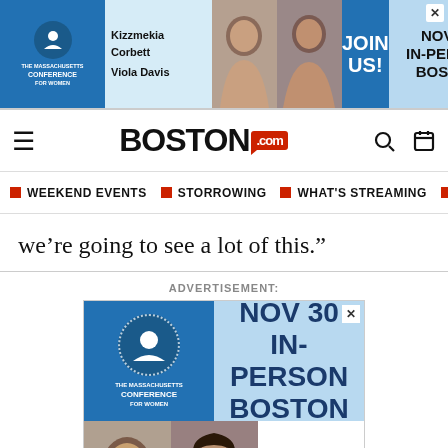[Figure (infographic): Top advertisement banner for The Massachusetts Conference for Women, Nov 30 in-person Boston, featuring Kizzmekia Corbett and Viola Davis, with JOIN US call to action]
BOSTON.com
WEEKEND EVENTS
STORROWING
WHAT'S STREAMING
LOV
we’re going to see a lot of this.”
ADVERTISEMENT:
[Figure (infographic): Advertisement for The Massachusetts Conference for Women. Nov 30 In-Person Boston. JOIN US! Features photos of Kizzmekia Corbett and Viola Davis.]